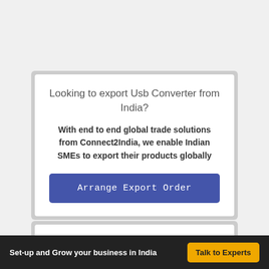Looking to export Usb Converter from India?
With end to end global trade solutions from Connect2India, we enable Indian SMEs to export their products globally
Arrange Export Order
Get Usb Converter Indian Exporters
View Import Duty for Usb Converter
Set-up and Grow your business in India   Talk to Experts